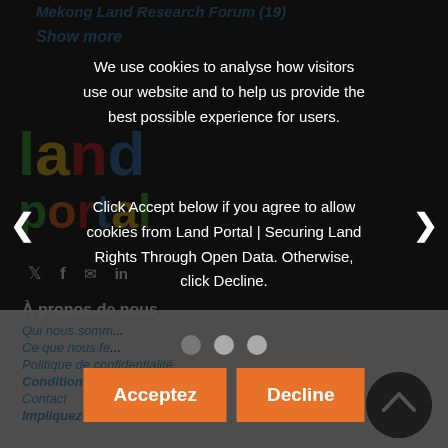Mekong Land Research Forum (19)
Show more
[Figure (logo): Land Portal colorful logo with 'land' in multicolor letters and 'portal' below]
Social media icons: Twitter, Facebook, Email, LinkedIn
À propos de nous
Qui nous sommes
Ce que nous fe...
Politique de confidentialité
Conditions d'utilisation
Contact
Impliquez-vous
Notre mission
La Fondation croit que l'accès à l'information est indispensable pour parvenir à une bonne gouvernance foncière et pour garantir
We use cookies to analyse how visitors use our website and to help us provide the best possible experience for users.

Click Accept below if you agree to allow cookies from Land Portal | Securing Land Rights Through Open Data. Otherwise, click Decline.
Acceptez
Decline